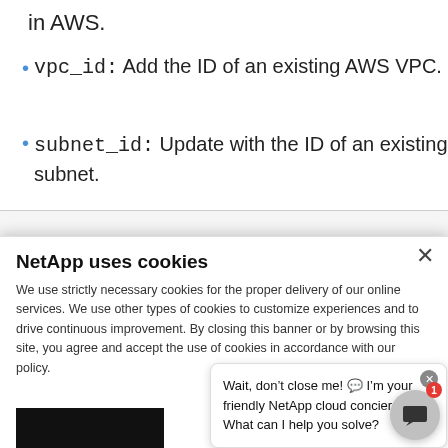in AWS.
vpc_id: Add the ID of an existing AWS VPC.
subnet_id: Update with the ID of an existing subnet.
[Figure (screenshot): Partially visible code block at the bottom of the main content area]
NetApp uses cookies
We use strictly necessary cookies for the proper delivery of our online services. We use other types of cookies to customize experiences and to drive continuous improvement. By closing this banner or by browsing this site, you agree and accept the use of cookies in accordance with our policy.
Wait, don’t close me! 💬 I’m your friendly NetApp cloud concierge. What can I help you solve?
Cookie settings